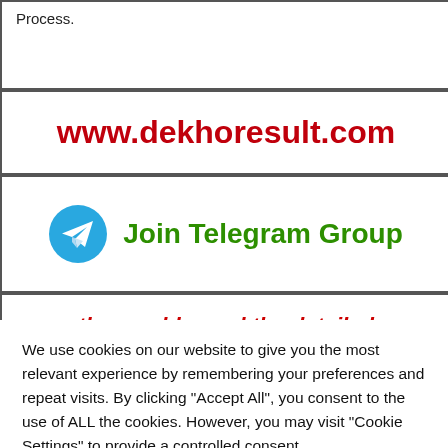Process.
www.dekhoresult.com
[Figure (logo): Telegram icon (blue circle with white paper plane) followed by green bold text: Join Telegram Group]
thoroughly read the detailed information.
We use cookies on our website to give you the most relevant experience by remembering your preferences and repeat visits. By clicking "Accept All", you consent to the use of ALL the cookies. However, you may visit "Cookie Settings" to provide a controlled consent.
Cookie Settings  |  Accept All